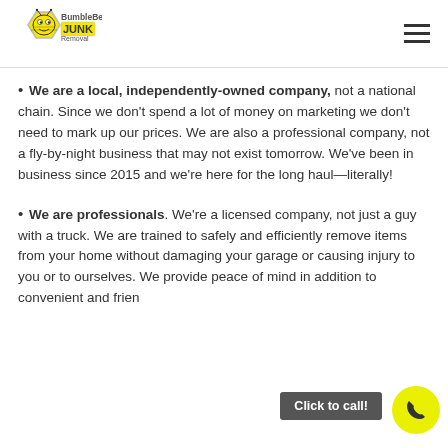BumbleBee Junk Removal
We are a local, independently-owned company, not a national chain. Since we don't spend a lot of money on marketing we don't need to mark up our prices. We are also a professional company, not a fly-by-night business that may not exist tomorrow. We've been in business since 2015 and we're here for the long haul—literally!
We are professionals. We're a licensed company, not just a guy with a truck. We are trained to safely and efficiently remove items from your home without damaging your garage or causing injury to you or to ourselves. We provide peace of mind in addition to convenient and frien...